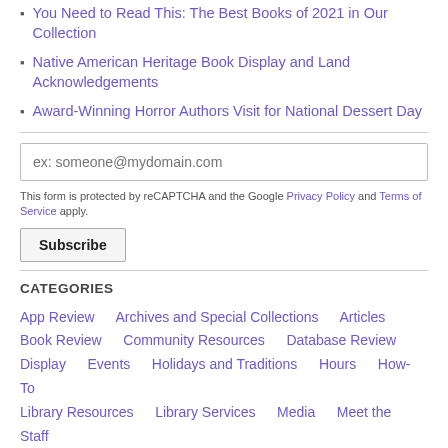You Need to Read This: The Best Books of 2021 in Our Collection
Native American Heritage Book Display and Land Acknowledgements
Award-Winning Horror Authors Visit for National Dessert Day
ex: someone@mydomain.com
This form is protected by reCAPTCHA and the Google Privacy Policy and Terms of Service apply.
Subscribe
CATEGORIES
App Review   Archives and Special Collections   Articles   Book Review   Community Resources   Database Review   Display   Events   Holidays and Traditions   Hours   How-To   Library Resources   Library Services   Media   Meet the Staff